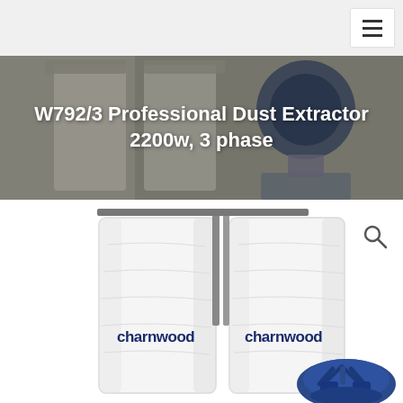W792/3 Professional Dust Extractor 2200w, 3 phase
[Figure (photo): Product photo of Charnwood W792/3 Professional Dust Extractor showing two white fabric filter bags with 'charnwood' branding in navy blue text, metal support frame, and blue motor/impeller unit at the bottom right]
[Figure (photo): Hero banner background image showing the Charnwood dust extractor machinery from a different angle, partially visible]